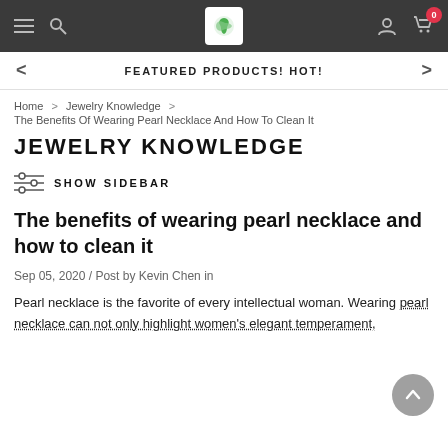Navigation bar with menu, search, logo, user, and cart icons
FEATURED PRODUCTS! HOT!
Home > Jewelry Knowledge > The Benefits Of Wearing Pearl Necklace And How To Clean It
JEWELRY KNOWLEDGE
SHOW SIDEBAR
The benefits of wearing pearl necklace and how to clean it
Sep 05, 2020 / Post by Kevin Chen in
Pearl necklace is the favorite of every intellectual woman. Wearing pearl necklace can not only highlight women's elegant temperament,